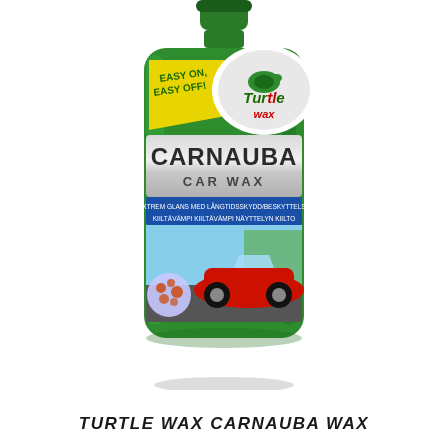[Figure (photo): Turtle Wax Carnauba Car Wax green bottle with label showing red sports car, Turtle Wax logo with turtle graphic, 'EASY ON, EASY OFF!' yellow banner, 'CARNAUBA CAR WAX' on silver label, and multilingual text on blue band.]
TURTLE WAX CARNAUBA WAX